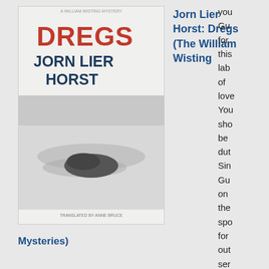[Figure (illustration): Book cover of 'Dregs' by Jorn Lier Horst - black and white image with red title text]
Jorn Lier Horst: Dregs (The William Wisting Mysteries)
[Figure (illustration): Book cover of 'Tea is So Intoxicating' by Mary Essex - teal geometric pattern with white oval shape]
Mary Essex: Tea is So Intoxicating (British Library Women Writers)
[Figure (illustration): Book cover with pink and red floral pattern - partial view]
von Arnim,
you
Gu
for
this
lab
of
love
You
sho
be
dut
Sin
Gu
on
the
spo
for
out
ser
to
all
Ma
and